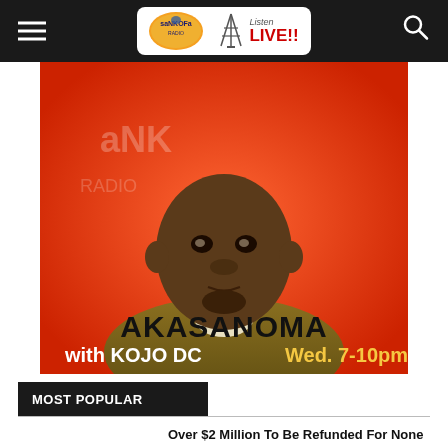Sankofa Radio — Listen LIVE!!
[Figure (photo): Promotional image for 'Akasanoma with Kojo DC Wed. 7-10pm' on Sankofa Radio showing a bald African man in an olive shirt against a red Sankofa Radio branded background]
MOST POPULAR
Over $2 Million To Be Refunded For None Supplied Sputnik V